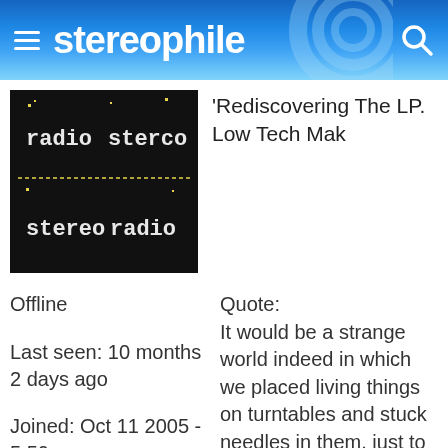stereophile
[Figure (screenshot): Radio stereo / stereo radio logo image on black background with pixel-style text]
'Rediscovering The LP. Low Tech Mak
Offline
Last seen: 10 months 2 days ago
Joined: Oct 11 2005 - 5:50pm
Quote:
It would be a strange world indeed in which we placed living things on turntables and stuck needles in them, just to see what they sounded like.
Strange to some, but this is not